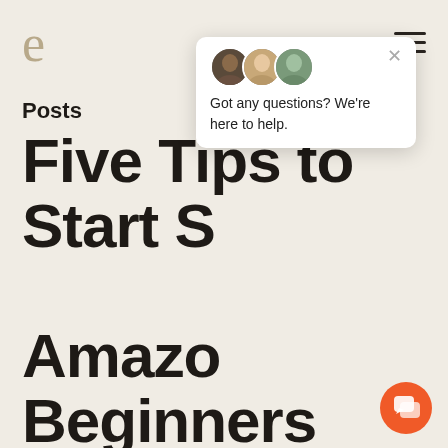e
Posts
Five Tips to Start Selling on Amazon for Beginners
Got any questions? We're here to help.
INSIGHTS, STRATEGY